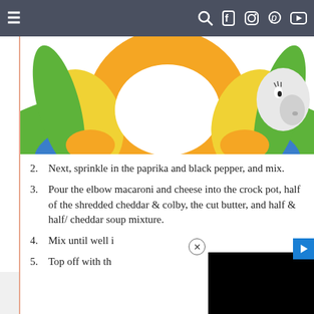≡  [navigation icons: search, facebook, instagram, pinterest, youtube]
[Figure (illustration): Partial view of a cartoon food product mascot illustration with green, yellow, orange and blue colors on a white background]
2. Next, sprinkle in the paprika and black pepper, and mix.
3. Pour the elbow macaroni and cheese into the crock pot, half of the shredded cheddar & colby, the cut butter, and half & half/ cheddar soup mixture.
4. Mix until well i[obscured]
5. Top off with th[obscured]